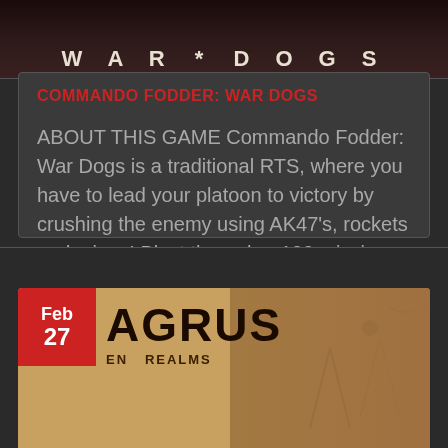[Figure (illustration): Dark themed banner for game 'WAR * DOGS' with stylized title text on dark red/maroon background]
COMMANDO FODDER: WAR DOGS
ABOUT THIS GAME Commando Fodder: War Dogs is a traditional RTS, where you have to lead your platoon to victory by crushing the enemy using AK47's, rockets and mines! Blast through a 100 missions to win the war commando, you [...]
[Figure (illustration): Game banner for 'AGRUS' with date badge showing Feb 27 on red background, golden/brown illustrated background with warriors]